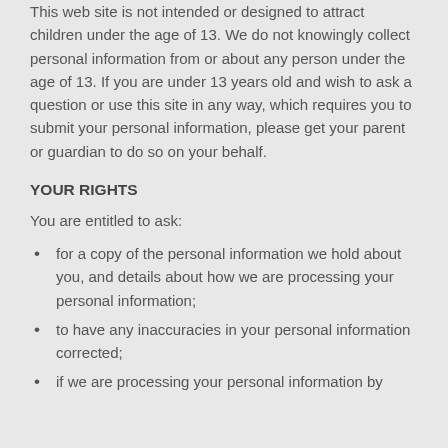This web site is not intended or designed to attract children under the age of 13. We do not knowingly collect personal information from or about any person under the age of 13. If you are under 13 years old and wish to ask a question or use this site in any way, which requires you to submit your personal information, please get your parent or guardian to do so on your behalf.
YOUR RIGHTS
You are entitled to ask:
for a copy of the personal information we hold about you, and details about how we are processing your personal information;
to have any inaccuracies in your personal information corrected;
if we are processing your personal information by